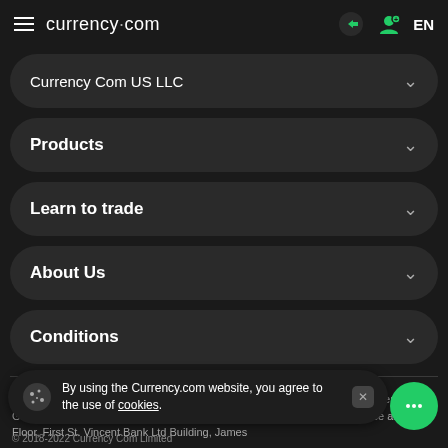currency.com
Currency Com US LLC
Products
Learn to trade
About Us
Conditions
Currency Com Global LLC is a limited liability company registered in St. Vincent & the Grenadines under company number 1291 LLC 2021 with its registered office at First Floor, First St. Vincent Bank Ltd Building, James
By using the Currency.com website, you agree to the use of cookies.
© 2018-2022 Currency Com Limited